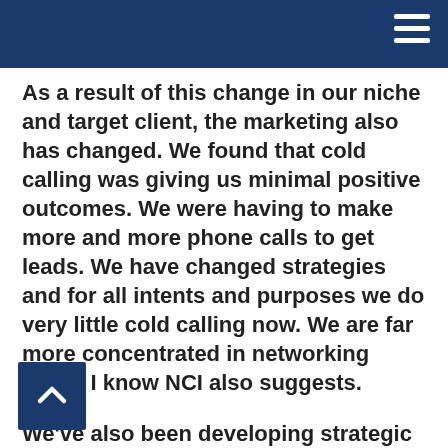As a result of this change in our niche and target client, the marketing also has changed. We found that cold calling was giving us minimal positive outcomes. We were having to make more and more phone calls to get leads. We have changed strategies and for all intents and purposes we do very little cold calling now. We are far more concentrated in networking which I know NCI also suggests.
We've also been developing strategic partnerships. As a result of the niche that we're in, we're getting close to many associations. There are many non-profit